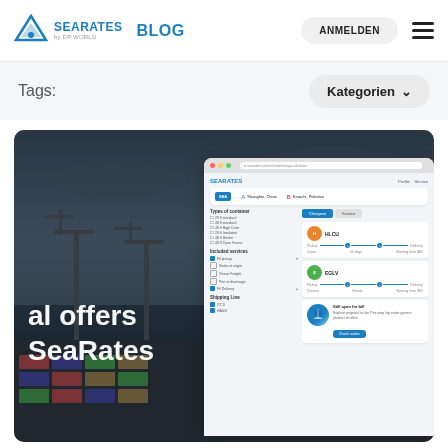SEARATES by DP WORLD BLOG  |  ANMELDEN
Tags:
Kategorien ▾
[Figure (screenshot): SeaRates blog page screenshot showing a maritime port aerial photo with overlay text 'al offers SeaRates' and a SeaRates freight search UI overlaid on the right side, showing route search from Shanghai, China to Karachi, Pakistan with HLCU and EGLV carrier results.]